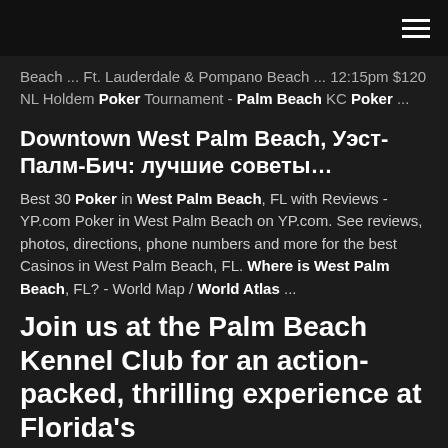hamburger menu icon
Beach ... Ft. Lauderdale & Pompano Beach ... 12:15pm $120 NL Holdem Poker Tournament - Palm Beach KC Poker ...
Downtown West Palm Beach, Уэст-Палм-Бич: лучшие советы…
Best 30 Poker in West Palm Beach, FL with Reviews - YP.com Poker in West Palm Beach on YP.com. See reviews, photos, directions, phone numbers and more for the best Casinos in West Palm Beach, FL. Where is West Palm Beach, FL? - World Map / World Atlas ...
Join us at the Palm Beach Kennel Club for an action-packed, thrilling experience at Florida's